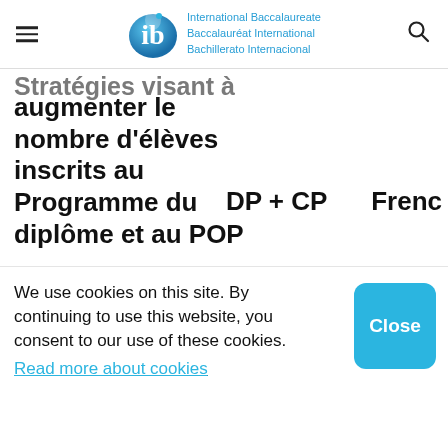International Baccalaureate Baccalauréat International Bachillerato Internacional
Stratégies visant à augmenter le nombre d'élèves inscrits au Programme du diplôme et au POP
DP + CP
Frenc
We use cookies on this site. By continuing to use this website, you consent to our use of these cookies.
Read more about cookies
Close